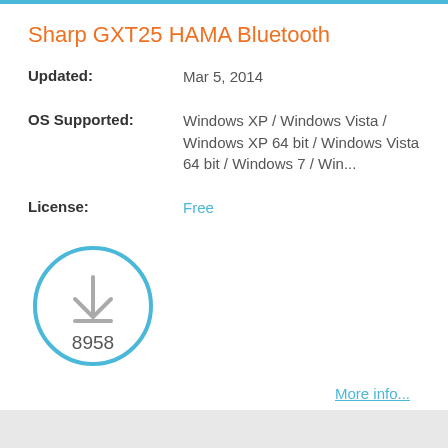Sharp GXT25 HAMA Bluetooth
Updated: Mar 5, 2014
OS Supported: Windows XP / Windows Vista / Windows XP 64 bit / Windows Vista 64 bit / Windows 7 / Win...
License: Free
[Figure (infographic): Download icon inside a circle with the number 8958 below it]
More info...